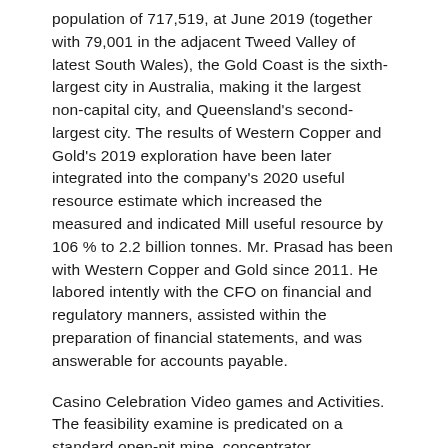population of 717,519, at June 2019 (together with 79,001 in the adjacent Tweed Valley of latest South Wales), the Gold Coast is the sixth-largest city in Australia, making it the largest non-capital city, and Queensland's second-largest city. The results of Western Copper and Gold's 2019 exploration have been later integrated into the company's 2020 useful resource estimate which increased the measured and indicated Mill useful resource by 106% to 2.2 billion tonnes. Mr. Prasad has been with Western Copper and Gold since 2011. He labored intently with the CFO on financial and regulatory manners, assisted within the preparation of financial statements, and was answerable for accounts payable.
Casino Celebration Video games and Activities. The feasibility examine is predicated on a standard open-pit mine, concentrator complicated and heap leach operation. Using base commodity prices of ,400 per